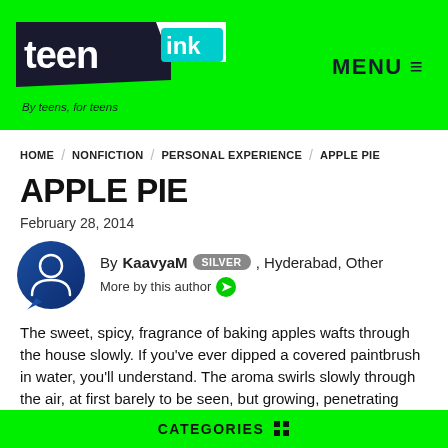[Figure (logo): Teen Ink logo — black pentagon shape with 'teen' in white, teal 'ink' box, white background trapezoid]
By teens, for teens
MENU ☰
HOME / NONFICTION / PERSONAL EXPERIENCE / APPLE PIE
APPLE PIE
February 28, 2014
By KaavyaM SILVER , Hyderabad, Other
More by this author ➔
The sweet, spicy, fragrance of baking apples wafts through the house slowly. If you've ever dipped a covered paintbrush in water, you'll understand. The aroma swirls slowly through the air, at first barely to be seen, but growing, penetrating
CATEGORIES ⊞